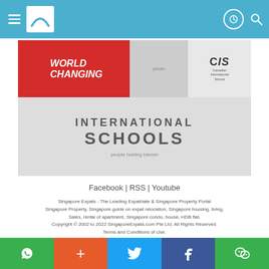Singapore Expats navigation header
[Figure (photo): Advertisement banner: top portion shows 'WORLD CHANGING' text on red background with CIS Canadian International School logo and a masked student; bottom portion shows people holding a large sign reading 'INTERNATIONAL SCHOOLS']
Facebook | RSS | Youtube
Singapore Expats - The Leading Expatriate & Singapore Property Portal
Singapore Property, Singapore guide on expat relocation, Singapore housing, living,
Sales, rental of apartment, Singapore condo, house, HDB flat.
Copyright © 2002 to 2022 SingaporeExpats.com Pte Ltd, All Rights Reserved.
Terms and Conditions of Use.
Social sharing buttons: WhatsApp, Plus, Twitter, Facebook, WeChat